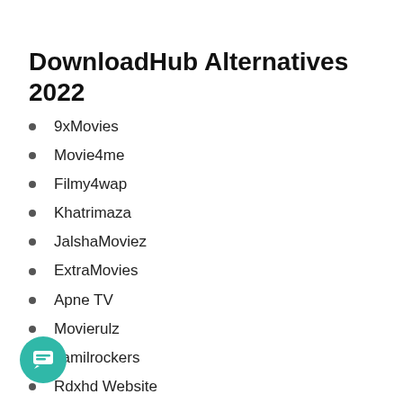DownloadHub Alternatives 2022
9xMovies
Movie4me
Filmy4wap
Khatrimaza
JalshaMoviez
ExtraMovies
Apne TV
Movierulz
Tamilrockers
Rdxhd Website